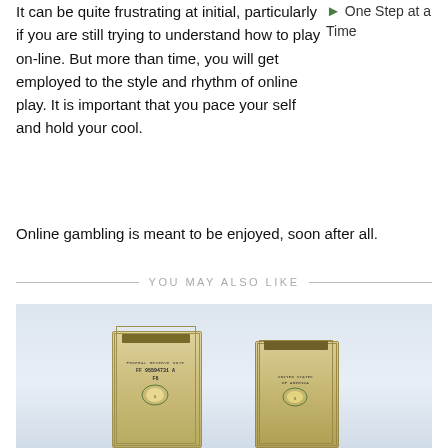It can be quite frustrating at initial, particularly if you are still trying to understand how to play on-line. But more than time, you will get employed to the style and rhythm of online play. It is important that you pace your self and hold your cool.
One Step at a Time
Online gambling is meant to be enjoyed, soon after all.
YOU MAY ALSO LIKE
[Figure (photo): Two stacks of US dollar bills (hundred dollar bills) against a light blue-grey gradient background]